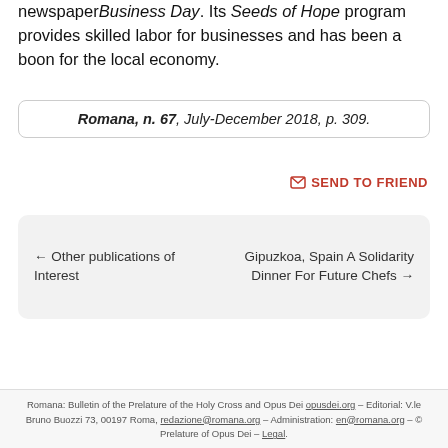Nigeria from the West African newspaper Business Day. Its Seeds of Hope program provides skilled labor for businesses and has been a boon for the local economy.
Romana, n. 67, July-December 2018, p. 309.
✉ SEND TO FRIEND
← Other publications of Interest
Gipuzkoa, Spain A Solidarity Dinner For Future Chefs →
Romana: Bulletin of the Prelature of the Holy Cross and Opus Dei opusdei.org – Editorial: V.le Bruno Buozzi 73, 00197 Roma, redazione@romana.org – Administration: en@romana.org – © Prelature of Opus Dei – Legal.